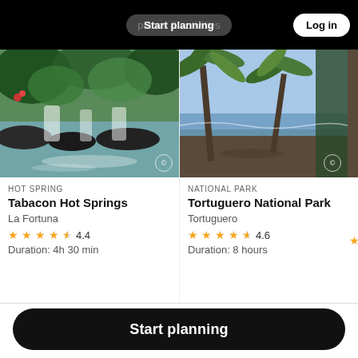Start planning | places & activities | Log in
[Figure (photo): Tabacon Hot Springs waterfall with lush tropical vegetation]
HOT SPRING
Tabacon Hot Springs
La Fortuna
4.4 stars · Duration: 4h 30 min
[Figure (photo): Tortuguero National Park beach with palm trees and ocean]
NATIONAL PARK
Tortuguero National Park
Tortuguero
4.6 stars · Duration: 8 hours
Start planning